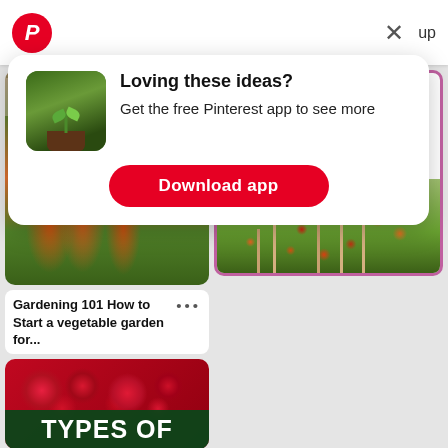Pinterest
[Figure (screenshot): Pinterest app download popup with logo, text 'Loving these ideas? Get the free Pinterest app to see more', and a red Download app button]
Loving these ideas?
Get the free Pinterest app to see more
Download app
[Figure (photo): Gardening card with 'BEGINNERS' text overlay and photo of vegetables including carrots, green tomatoes, and herbs in a garden box]
Gardening 101 How to Start a vegetable garden for...
[Figure (infographic): Red background card with white text 'TYPES OF']
[Figure (infographic): Card with pink/purple border showing '10 VEGETABLES to grow in CONTAINERS' text and photo of tomato plants in containers]
10 VEGETABLES to grow in CONTAINERS